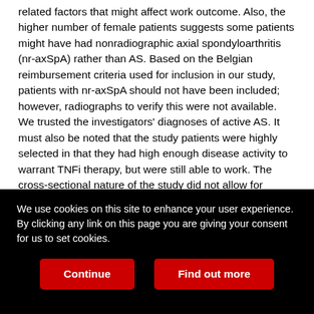related factors that might affect work outcome. Also, the higher number of female patients suggests some patients might have had nonradiographic axial spondyloarthritis (nr-axSpA) rather than AS. Based on the Belgian reimbursement criteria used for inclusion in our study, patients with nr-axSpA should not have been included; however, radiographs to verify this were not available. We trusted the investigators' diagnoses of active AS. It must also be noted that the study patients were highly selected in that they had high enough disease activity to warrant TNFi therapy, but were still able to work. The cross-sectional nature of the study did not allow for determining significant factors that also predict adverse work outcome. Although we found that the effect of poor quality of contact with work colleagues was related to presenteeism, no information was
We use cookies on this site to enhance your user experience. By clicking any link on this page you are giving your consent for us to set cookies.